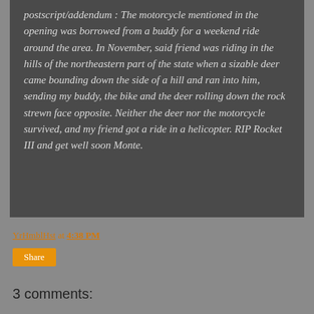postscript/addendum : The motorcycle mentioned in the opening was borrowed from a buddy for a weekend ride around the area. In November, said friend was riding in the hills of the northeastern part of the state when a sizable deer came bounding down the side of a hill and ran into him, sending my buddy, the bike and the deer rolling down the rock strewn face opposite. Neither the deer nor the motorcycle survived, and my friend got a ride in a helicopter. RIP Rocket III and get well soon Monte.
YrHmblHst at 4:38 PM
Share
3 comments: